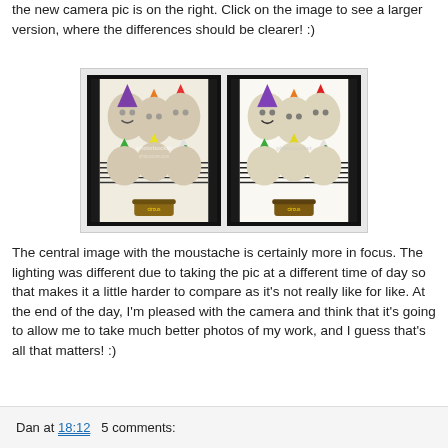the new camera pic is on the right. Click on the image to see a larger version, where the differences should be clearer! :)
[Figure (photo): Two side-by-side framed artworks showing clown-themed characters with party hats. The left image is the old camera photo and the right is the new camera photo. Both show colorful illustrated creatures with party hats. A photobucket watermark is visible across the images.]
The central image with the moustache is certainly more in focus. The lighting was different due to taking the pic at a different time of day so that makes it a little harder to compare as it's not really like for like. At the end of the day, I'm pleased with the camera and think that it's going to allow me to take much better photos of my work, and I guess that's all that matters! :)
Dan at 18:12   5 comments: